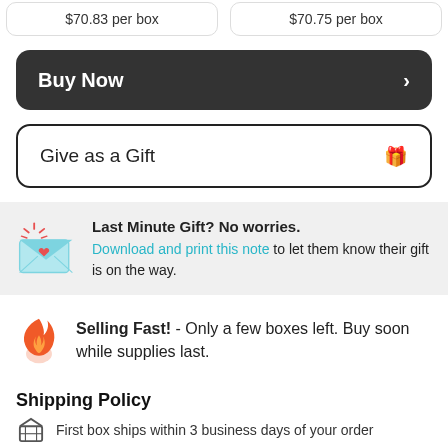$70.83 per box   $70.75 per box
Buy Now ›
Give as a Gift 🎁
Last Minute Gift? No worries. Download and print this note to let them know their gift is on the way.
Selling Fast! - Only a few boxes left. Buy soon while supplies last.
Shipping Policy
First box ships within 3 business days of your order